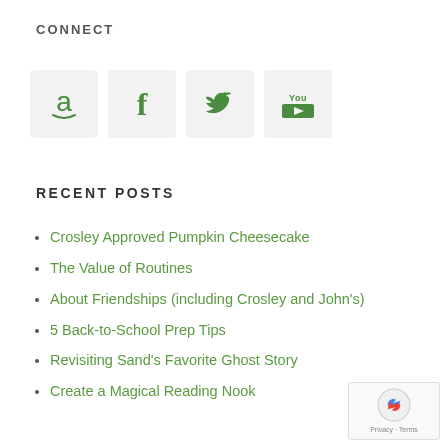CONNECT
[Figure (other): Four social media icon boxes: Amazon, Facebook, Twitter, YouTube — all in green on light grey backgrounds]
RECENT POSTS
Crosley Approved Pumpkin Cheesecake
The Value of Routines
About Friendships (including Crosley and John's)
5 Back-to-School Prep Tips
Revisiting Sand's Favorite Ghost Story
Create a Magical Reading Nook